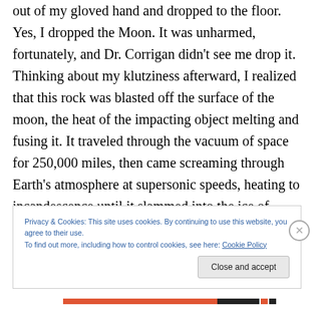out of my gloved hand and dropped to the floor. Yes, I dropped the Moon. It was unharmed, fortunately, and Dr. Corrigan didn't see me drop it. Thinking about my klutziness afterward, I realized that this rock was blasted off the surface of the moon, the heat of the impacting object melting and fusing it. It traveled through the vacuum of space for 250,000 miles, then came screaming through Earth's atmosphere at supersonic speeds, heating to incandescence until it slammed into the ice of Antarctica. Then glacial forces ground it up into the margin of a mountain range where a scientist found it. I don't think a
Privacy & Cookies: This site uses cookies. By continuing to use this website, you agree to their use.
To find out more, including how to control cookies, see here: Cookie Policy
Close and accept